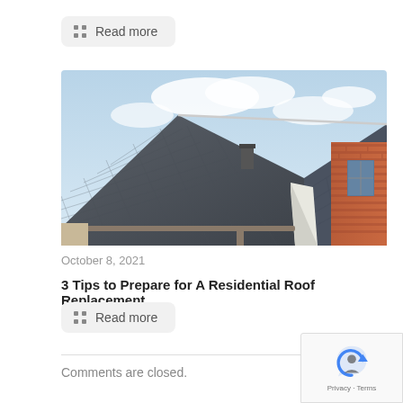Read more
[Figure (photo): Aerial view of a residential house with dark grey metal tile roof and brick facade against a cloudy sky]
October 8, 2021
3 Tips to Prepare for A Residential Roof Replacement
Read more
Comments are closed.